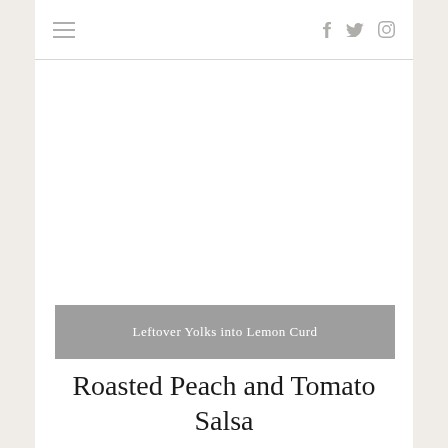≡  f  twitter  instagram
[Figure (photo): White blank image area representing a food photo placeholder]
Leftover Yolks into Lemon Curd
Roasted Peach and Tomato Salsa